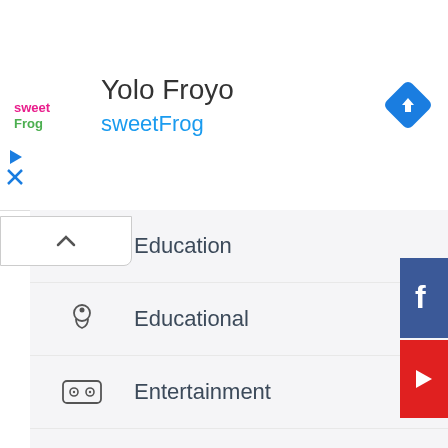[Figure (screenshot): Ad banner for Yolo Froyo / sweetFrog with logo, title, subtitle, and navigation icon]
Yolo Froyo
sweetFrog
Education
Educational
Entertainment
Libraries & Demo
Lifestyle
Music